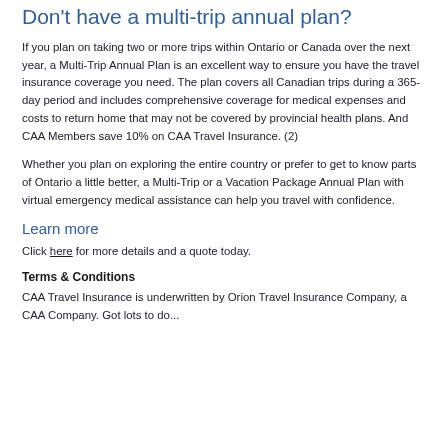Don't have a multi-trip annual plan?
If you plan on taking two or more trips within Ontario or Canada over the next year, a Multi-Trip Annual Plan is an excellent way to ensure you have the travel insurance coverage you need. The plan covers all Canadian trips during a 365-day period and includes comprehensive coverage for medical expenses and costs to return home that may not be covered by provincial health plans. And CAA Members save 10% on CAA Travel Insurance. (2)
Whether you plan on exploring the entire country or prefer to get to know parts of Ontario a little better, a Multi-Trip or a Vacation Package Annual Plan with virtual emergency medical assistance can help you travel with confidence.
Learn more
Click here for more details and a quote today.
Terms & Conditions
CAA Travel Insurance is underwritten by Orion Travel Insurance Company, a CAA Company. Got lots to do...